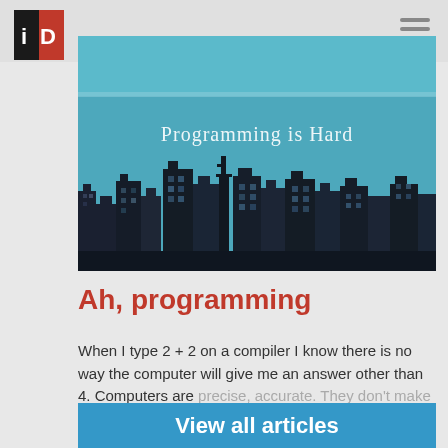iD
[Figure (illustration): City skyline silhouette illustration with blue sky background and text 'Programming is Hard']
Ah, programming
When I type 2 + 2 on a compiler I know there is no way the computer will give me an answer other than 4. Computers are precise, accurate. They don't make
View all articles